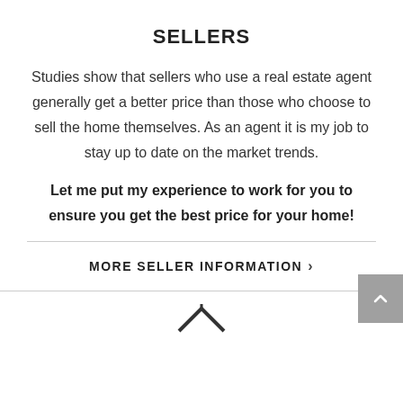SELLERS
Studies show that sellers who use a real estate agent generally get a better price than those who choose to sell the home themselves. As an agent it is my job to stay up to date on the market trends.
Let me put my experience to work for you to ensure you get the best price for your home!
MORE SELLER INFORMATION >
[Figure (logo): Partial house/roof logo icon at bottom center]